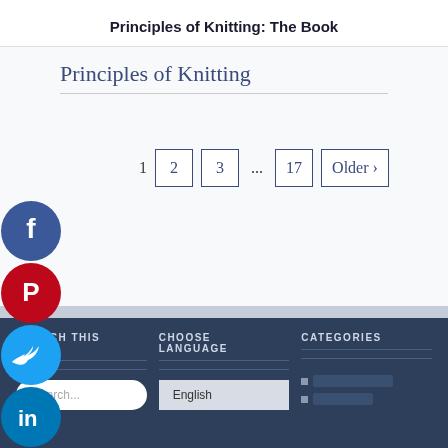Principles of Knitting: The Book
Principles of Knitting
1  2  3  ...  17  Older ›
[Figure (infographic): Social media share icons column: Facebook (blue), Pinterest (red), Twitter (blue), LinkedIn (blue), Print (teal), Email (gray)]
SEARCH THIS SITE
CHOOSE LANGUAGE
CATEGORIES
Search...
English